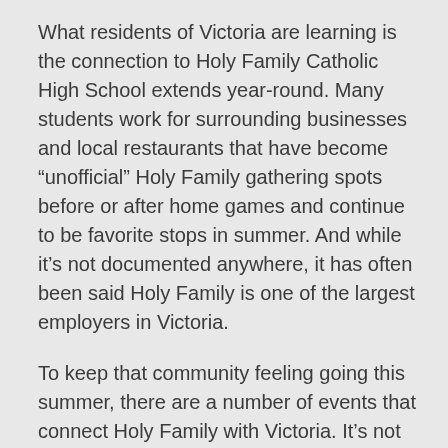What residents of Victoria are learning is the connection to Holy Family Catholic High School extends year-round. Many students work for surrounding businesses and local restaurants that have become “unofficial” Holy Family gathering spots before or after home games and continue to be favorite stops in summer. And while it’s not documented anywhere, it has often been said Holy Family is one of the largest employers in Victoria.
To keep that community feeling going this summer, there are a number of events that connect Holy Family with Victoria. It’s not too late to enjoy more than one of these happenings that will keep you and your family coming Victoria during warm summer months.